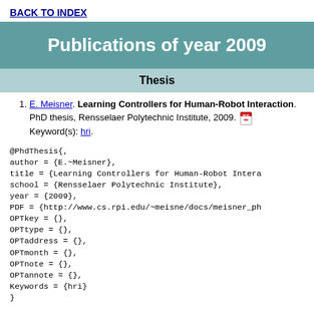BACK TO INDEX
Publications of year 2009
Thesis
E. Meisner. Learning Controllers for Human-Robot Interaction. PhD thesis, Rensselaer Polytechnic Institute, 2009. Keyword(s): hri.
@PhdThesis{
author = {E.~Meisner},
title = {Learning Controllers for Human-Robot Intera
school = {Rensselaer Polytechnic Institute},
year = {2009},
PDF = {http://www.cs.rpi.edu/~meisne/docs/meisner_ph
OPTkey = {},
OPTtype = {},
OPTaddress = {},
OPTmonth = {},
OPTnote = {},
OPTannote = {},
Keywords = {hri}
}